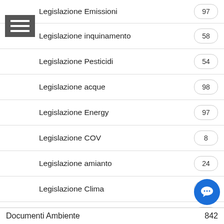Legislazione Emissioni
Legislazione inquinamento
Legislazione Pesticidi
Legislazione acque
Legislazione Energy
Legislazione COV
Legislazione amianto
Legislazione Clima
Legislazione EMC
Ecolabel
Legislazione suolo
Testo Unico Ambientale
VIA | VAS | VIS
Legislazione aria
Regolamento EMAS
Legislazione reflui
Documenti Ambiente